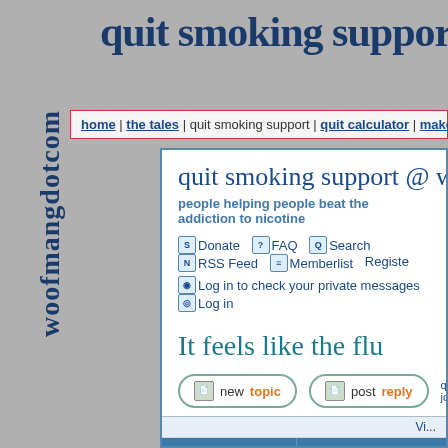quit smoking support
woofmangdotcom
home | the tales | quit smoking support | quit calculator | make contact
quit smoking support @ woofmang.com
people helping people beat the addiction to nicotine
Donate FAQ Search RSS Feed Memberlist Register Log in to check your private messages Log in
It feels like the flu
new topic  post reply  quit smoking support @ woofmang  journey to wellness
| Author | Message |
| --- | --- |
| Barbara K.

Quit Date:
December 23, 2004 | Posted: January 7, 2009 4:40 AM  Post su...

I haven't had the flu in years but this th... it. I'm achy, running a fever, weak, hea... |
Vi...